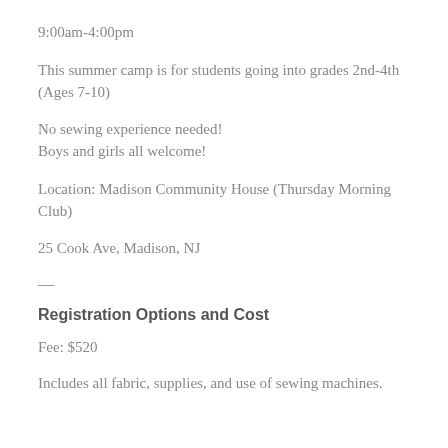9:00am-4:00pm
This summer camp is for students going into grades 2nd-4th (Ages 7-10)
No sewing experience needed!
Boys and girls all welcome!
Location: Madison Community House (Thursday Morning Club)
25 Cook Ave, Madison, NJ
—
Registration Options and Cost
Fee: $520
Includes all fabric, supplies, and use of sewing machines.